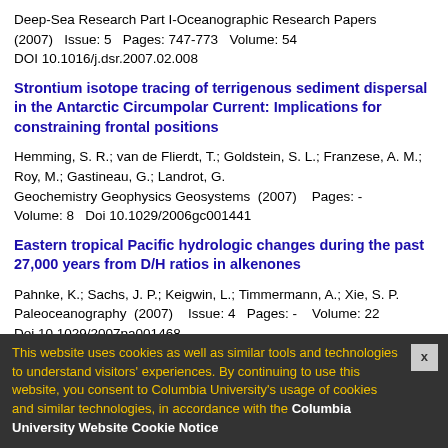Deep-Sea Research Part I-Oceanographic Research Papers (2007)  Issue: 5  Pages: 747-773   Volume: 54  DOI 10.1016/j.dsr.2007.02.008
Strontium isotope tracing of terrigenous sediment dispersal in the Antarctic Circumpolar Current: Implications for constraining frontal positions
Hemming, S. R.; van de Flierdt, T.; Goldstein, S. L.; Franzese, A. M.; Roy, M.; Gastineau, G.; Landrot, G.
Geochemistry Geophysics Geosystems (2007)  Pages: -   Volume: 8  Doi 10.1029/2006gc001441
Eastern tropical Pacific hydrologic changes during the past 27,000 years from D/H ratios in alkenones
Pahnke, K.; Sachs, J. P.; Keigwin, L.; Timmermann, A.; Xie, S. P.
Paleoceanography (2007)  Issue: 4  Pages: -   Volume: 22
Doi 10.1029/2007pa001468
Broecker, W.; Barker, S. Earth and Planetary Science Letters (2007) Issue: 1-2 LDEO Publication Number: 6954 Pages: 90-99 Volume: 256 DOI 10.1016/j.epsl.2007.01.05
Climate change and trace gases
This website uses cookies as well as similar tools and technologies to understand visitors' experiences. By continuing to use this website, you consent to Columbia University's usage of cookies and similar technologies, in accordance with the Columbia University Website Cookie Notice